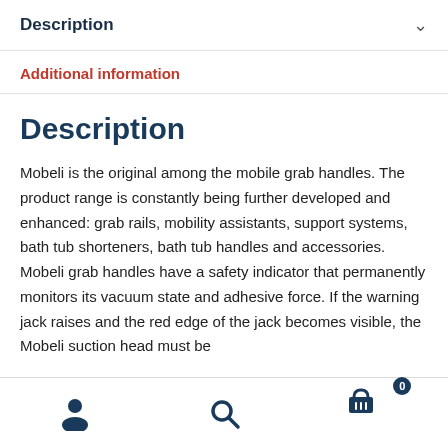Description
Additional information
Description
Mobeli is the original among the mobile grab handles. The product range is constantly being further developed and enhanced: grab rails, mobility assistants, support systems, bath tub shorteners, bath tub handles and accessories. Mobeli grab handles have a safety indicator that permanently monitors its vacuum state and adhesive force. If the warning jack raises and the red edge of the jack becomes visible, the Mobeli suction head must be